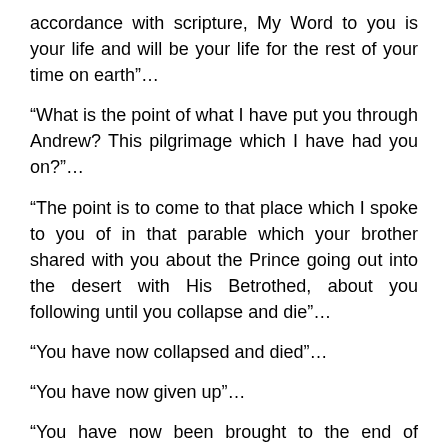accordance with scripture, My Word to you is your life and will be your life for the rest of your time on earth”…
“What is the point of what I have put you through Andrew? This pilgrimage which I have had you on?”…
“The point is to come to that place which I spoke to you of in that parable which your brother shared with you about the Prince going out into the desert with His Betrothed, about you following until you collapse and die”…
“You have now collapsed and died”…
“You have now given up”…
“You have now been brought to the end of yourself”…
“Now you will learn about true faith”…